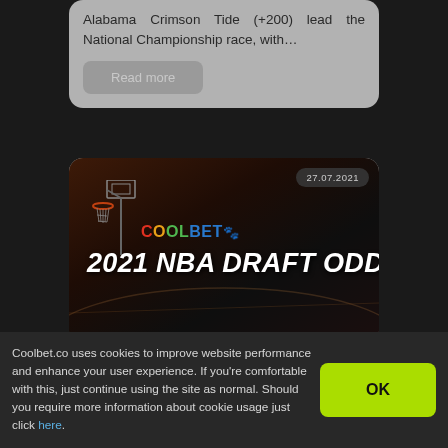Alabama Crimson Tide (+200) lead the National Championship race, with…
Read more
[Figure (photo): Coolbet 2021 NBA Draft Odds promotional banner image with basketball hoop background, date 27.07.2021]
Coolbet.co uses cookies to improve website performance and enhance your user experience. If you're comfortable with this, just continue using the site as normal. Should you require more information about cookie usage just click here.
OK